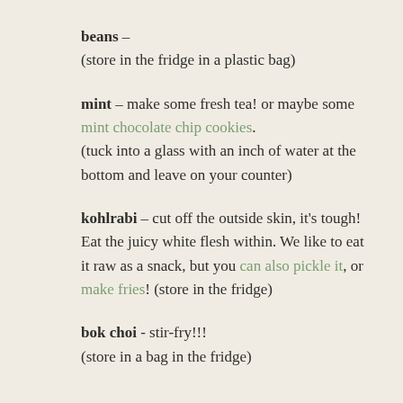beans – (store in the fridge in a plastic bag)
mint – make some fresh tea! or maybe some mint chocolate chip cookies. (tuck into a glass with an inch of water at the bottom and leave on your counter)
kohlrabi – cut off the outside skin, it's tough! Eat the juicy white flesh within. We like to eat it raw as a snack, but you can also pickle it, or make fries! (store in the fridge)
bok choi - stir-fry!!! (store in a bag in the fridge)